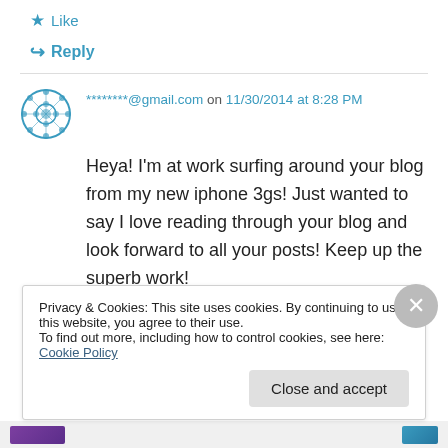★ Like
↪ Reply
********@gmail.com on 11/30/2014 at 8:28 PM
Heya! I'm at work surfing around your blog from my new iphone 3gs! Just wanted to say I love reading through your blog and look forward to all your posts! Keep up the superb work!
★ Like
Privacy & Cookies: This site uses cookies. By continuing to use this website, you agree to their use.
To find out more, including how to control cookies, see here: Cookie Policy
Close and accept